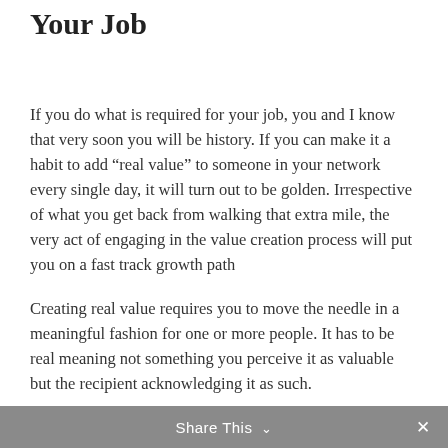Your Job
If you do what is required for your job, you and I know that very soon you will be history. If you can make it a habit to add “real value” to someone in your network every single day, it will turn out to be golden. Irrespective of what you get back from walking that extra mile, the very act of engaging in the value creation process will put you on a fast track growth path
Creating real value requires you to move the needle in a meaningful fashion for one or more people. It has to be real meaning not something you perceive it as valuable but the recipient acknowledging it as such.
Share This ∨  ✕